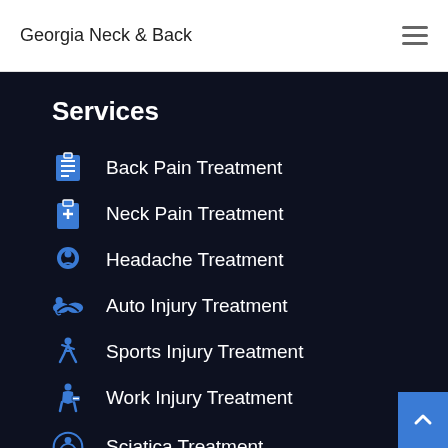Georgia Neck & Back
Services
Back Pain Treatment
Neck Pain Treatment
Headache Treatment
Auto Injury Treatment
Sports Injury Treatment
Work Injury Treatment
Sciatica Treatment